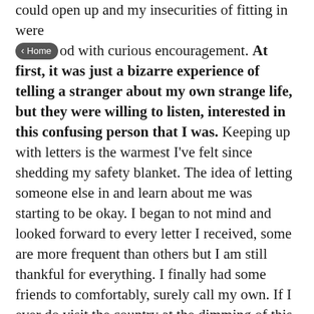could open up and my insecurities of fitting in were met with curious encouragement. At first, it was just a bizarre experience of telling a stranger about my own strange life, but they were willing to listen, interested in this confusing person that I was. Keeping up with letters is the warmest I've felt since shedding my safety blanket. The idea of letting someone else in and learn about me was starting to be okay. I began to not mind and looked forward to every letter I received, some are more frequent than others but I am still thankful for everything. I finally had some friends to comfortably, surely call my own. If I ever do visit the country at the dimming of this pandemic, it's a promise that we will meet. Or at least they get a care package from me. My gratitude is immeasurable for what they've helped me accomplish, but still, I want them to really feel the same warmth that I do. My experience is a weird one, not everyone where I'm from